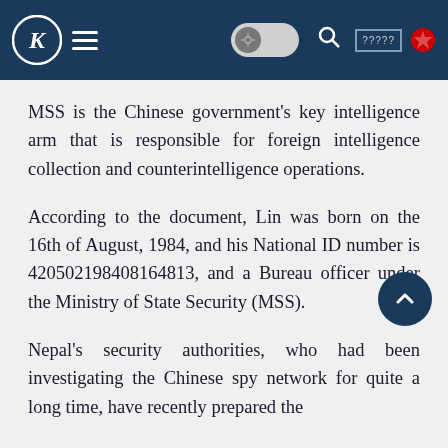Navigation bar with logo, hamburger menu, settings toggle, search icon, language text, and flag icon
MSS is the Chinese government's key intelligence arm that is responsible for foreign intelligence collection and counterintelligence operations.
According to the document, Lin was born on the 16th of August, 1984, and his National ID number is 420502198408164813, and a Bureau officer under the Ministry of State Security (MSS).
Nepal's security authorities, who had been investigating the Chinese spy network for quite a long time, have recently prepared the